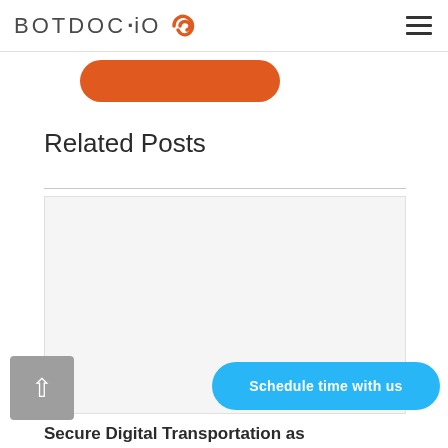BOTDOC · IO [logo]
[Figure (other): Partial orange rounded button visible at top of page]
Related Posts
[Figure (other): Large light gray empty card/image placeholder area below divider line]
Secure Digital Transportation as
[Figure (other): Gray back-to-top arrow button in bottom left corner]
[Figure (other): Blue rounded 'Schedule time with us' button in bottom right]